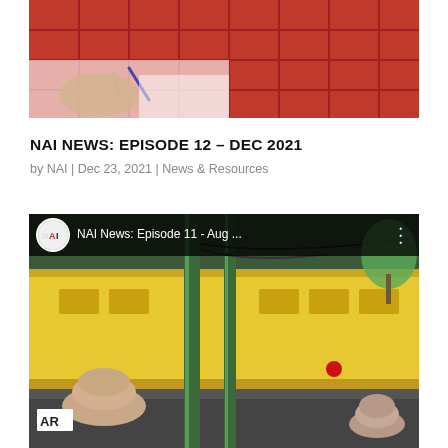[Figure (photo): Partial photo showing a hand writing on paper with a red checkered tablecloth background, cropped at the top of the page]
NAI NEWS: EPISODE 12 – DEC 2021
by NAI | Dec 23, 2021 | News & Resources
[Figure (screenshot): Video thumbnail screenshot from YouTube-style player showing NAI News: Episode 11 - Aug ... with NAI Business Properties logo, and a scene with green poles, yellow school bus, and two people in the foreground. AR sign visible at bottom left.]